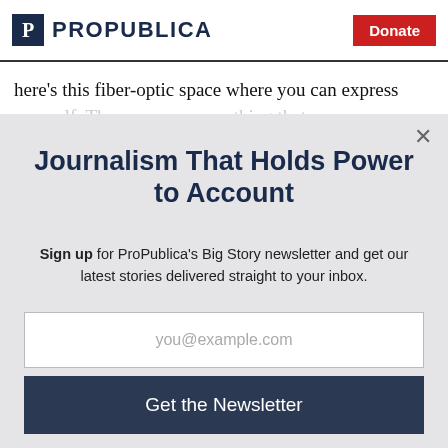ProPublica | Donate
here's this fiber-optic space where you can express yourself. Then you can something that came
Journalism That Holds Power to Account
Sign up for ProPublica's Big Story newsletter and get our latest stories delivered straight to your inbox.
you@example.com
Get the Newsletter
No thanks, I'm all set
This site is protected by reCAPTCHA and the Google Privacy Policy and Terms of Service apply.